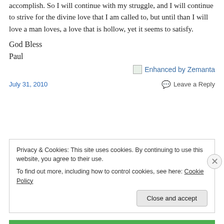accomplish. So I will continue with my struggle, and I will continue to strive for the divine love that I am called to, but until than I will love a man loves, a love that is hollow, yet it seems to satisfy.
God Bless
Paul
[Figure (logo): Enhanced by Zemanta badge with small image icon and blue text]
July 31, 2010    💬 Leave a Reply
Privacy & Cookies: This site uses cookies. By continuing to use this website, you agree to their use.
To find out more, including how to control cookies, see here: Cookie Policy